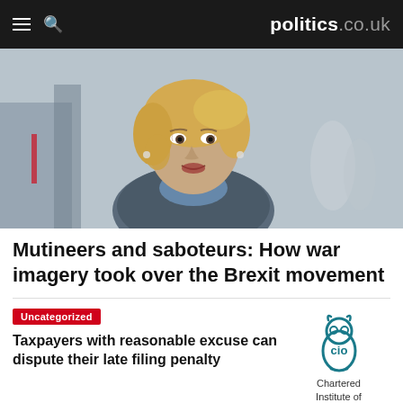politics.co.uk
[Figure (photo): Close-up photo of a blonde middle-aged woman speaking outdoors, with a blurred urban background]
Mutineers and saboteurs: How war imagery took over the Brexit movement
Uncategorized
Taxpayers with reasonable excuse can dispute their late filing penalty
[Figure (logo): Chartered Institute of Taxation (CIO) logo — teal stylized owl above text reading Chartered Institute of Taxation]